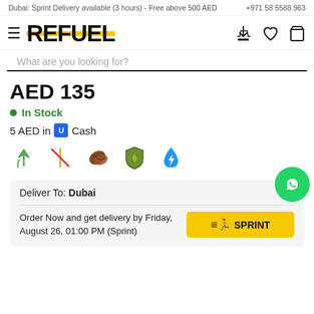Dubai: Sprint Delivery available (3 hours) - Free above 500 AED | +971 58 5588 963
[Figure (logo): REFUEL logo with yellow horizontal stripe across letters]
What are you looking for?
AED 135
In Stock
5 AED in U Cash
[Figure (infographic): Five dietary/product icons: vegan leaf, gluten-free wheat crossed, coffee bean, shield with leaf, blue water drop with lightning]
Deliver To: Dubai
Order Now and get delivery by Friday, August 26, 01:00 PM (Sprint)